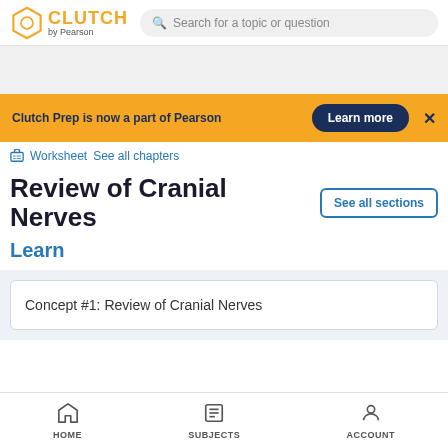CLUTCH by Pearson — Search for a topic or question
Clutch Prep is now a part of Pearson — Learn more
Worksheet  See all chapters
Review of Cranial Nerves
Learn
Concept #1: Review of Cranial Nerves
HOME  SUBJECTS  ACCOUNT